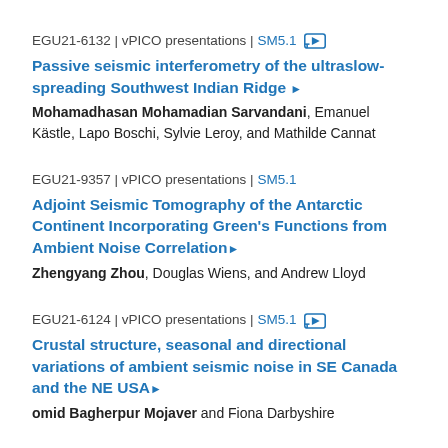EGU21-6132 | vPICO presentations | SM5.1 [icon]
Passive seismic interferometry of the ultraslow-spreading Southwest Indian Ridge ▶
Mohamadhasan Mohamadian Sarvandani, Emanuel Kästle, Lapo Boschi, Sylvie Leroy, and Mathilde Cannat
EGU21-9357 | vPICO presentations | SM5.1
Adjoint Seismic Tomography of the Antarctic Continent Incorporating Green's Functions from Ambient Noise Correlation▶
Zhengyang Zhou, Douglas Wiens, and Andrew Lloyd
EGU21-6124 | vPICO presentations | SM5.1 [icon]
Crustal structure, seasonal and directional variations of ambient seismic noise in SE Canada and the NE USA▶
omid Bagherpur Mojaver and Fiona Darbyshire